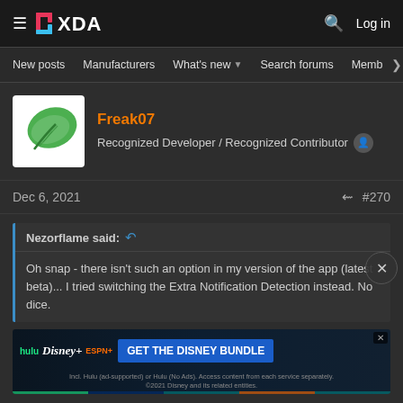XDA Forums - Log in
New posts  Manufacturers  What's new  Search forums  Members
Freak07
Recognized Developer / Recognized Contributor
Dec 6, 2021  #270
Nezorflame said:
Oh snap - there isn't such an option in my version of the app (latest beta)... I tried switching the Extra Notification Detection instead. No dice.
[Figure (screenshot): Disney Bundle advertisement banner showing Hulu, Disney+, ESPN+ logos with GET THE DISNEY BUNDLE call to action]
Do you still see this from what... Chainfire? Ropi?
Can you try with the non beta app on the CleanSlate thread?